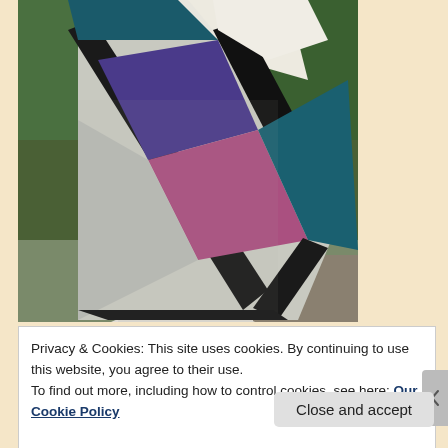[Figure (photo): A colorful knitted shawl or scarf displayed on a mannequin outdoors. The shawl features large color blocks including cream/white, light gray, dark navy/black border, purple, pink/mauve, and teal sections arranged in a geometric patchwork pattern. Green garden foliage and a stone patio are visible in the background.]
Privacy & Cookies: This site uses cookies. By continuing to use this website, you agree to their use.
To find out more, including how to control cookies, see here: Our Cookie Policy